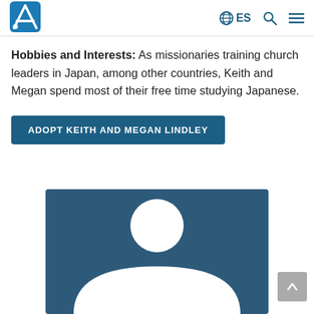ES
Hobbies and Interests: As missionaries training church leaders in Japan, among other countries, Keith and Megan spend most of their free time studying Japanese.
ADOPT KEITH AND MEGAN LINDLEY
[Figure (illustration): Blue rectangular background with a white silhouette of a person (profile placeholder avatar) — head circle and rounded shoulders visible.]